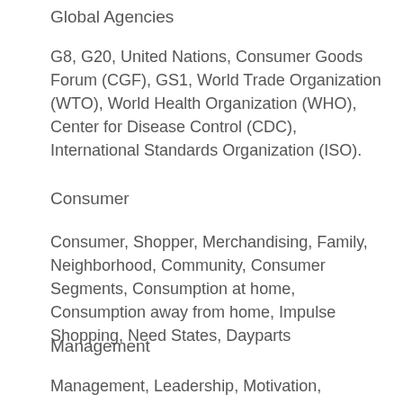Global Agencies
G8, G20, United Nations, Consumer Goods Forum (CGF), GS1, World Trade Organization (WTO), World Health Organization (WHO), Center for Disease Control (CDC), International Standards Organization (ISO).
Consumer
Consumer, Shopper, Merchandising, Family, Neighborhood, Community, Consumer Segments, Consumption at home, Consumption away from home, Impulse Shopping, Need States, Dayparts
Management
Management, Leadership, Motivation, Inspiration, Operations, Strategic Planning, Forecasting, Planning and Control, Marketing, Advertising, Promotion, Packaging, Social